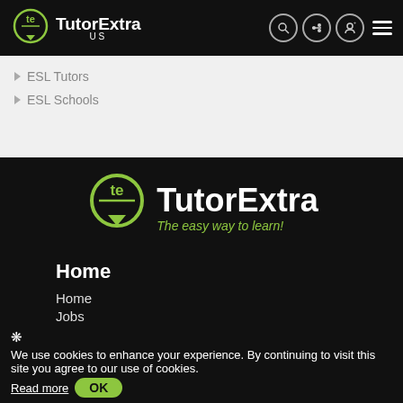[Figure (logo): TutorExtra US logo in top navigation bar on black background]
ESL Tutors
ESL Schools
[Figure (logo): Large TutorExtra logo with tagline 'The easy way to learn!' on black background]
Home
Home
Jobs
Articles
❋ We use cookies to enhance your experience. By continuing to visit this site you agree to our use of cookies.  Read more  OK